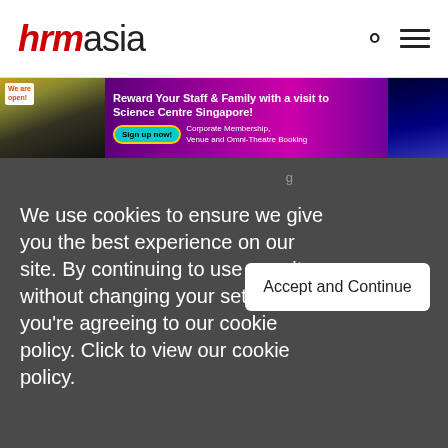hrmasia
[Figure (photo): Advertising banner for Science Centre Singapore: 'Reward Your Staff & Family with a visit to Science Centre Singapore! Sign up now! Corporate Membership, Venue and Omni-Theatre Booking']
We use cookies to ensure we give you the best experience on our site. By continuing to use our site without changing your settings, you're agreeing to our cookie policy. Click to view our cookie policy.
Accept and Continue